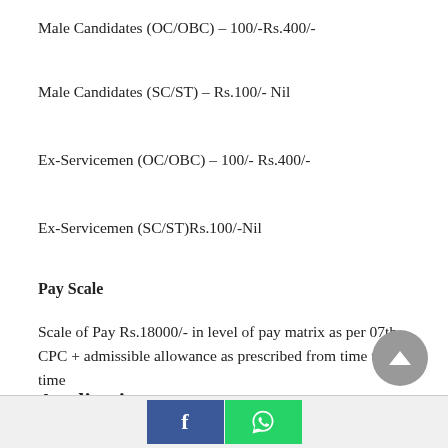Male Candidates (OC/OBC) – 100/-Rs.400/-
Male Candidates (SC/ST) – Rs.100/- Nil
Ex-Servicemen (OC/OBC) – 100/- Rs.400/-
Ex-Servicemen (SC/ST)Rs.100/-Nil
Pay Scale
Scale of Pay Rs.18000/- in level of pay matrix as per 07th CPC + admissible allowance as prescribed from time to time
Application
[Figure (other): Scroll to top button - grey circle with upward triangle arrow]
Facebook and WhatsApp share buttons